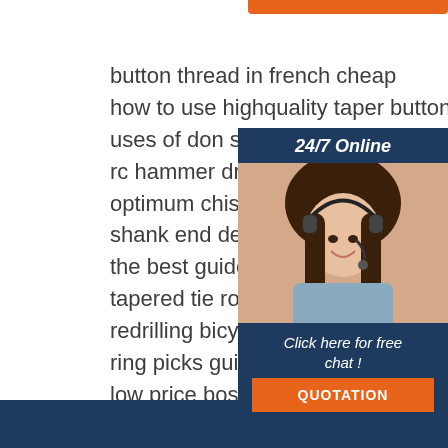button thread in french cheap
how to use highquality taper button
uses of don s gun guide rods
rc hammer drilling for sale
optimum chisel e bits
shank end definition cheap
the best guide hole drill bit
tapered tie rod bolt equipment
redrilling bicycle rim holes professio
ring picks guitars types
low price bosch max chisel bits
kream bistro lounge uses
[Figure (infographic): Customer service sidebar with '24/7 Online' header, photo of woman with headset, 'Click here for free chat!' text, and orange QUOTATION button]
[Figure (logo): TOP logo with orange dot triangle above the word TOP in orange]